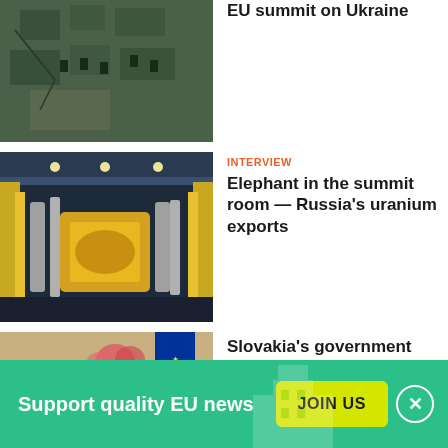[Figure (photo): Aerial view of a damaged or industrial area, top portion cut off at top of page]
[Figure (photo): Interior of a nuclear or industrial facility with yellow machinery and pipes]
INTERVIEW
Elephant in the summit room — Russia's uranium exports
[Figure (photo): A man in a suit holding up a document at a meeting, EU flag in background]
Slovakia's government stares into the abyss
Support quality EU news
JOIN US